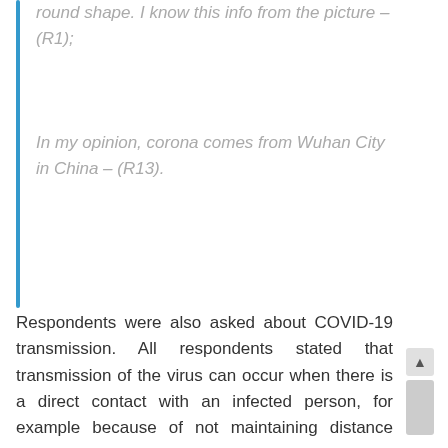round shape. I know this info from the picture – (R1);
In my opinion, corona comes from Wuhan City in China – (R13).
Respondents were also asked about COVID-19 transmission. All respondents stated that transmission of the virus can occur when there is a direct contact with an infected person, for example because of not maintaining distance from that person. Some respondents also explained the details of the transmission type, which is not only through physical contact, but also through the air or touching goods contaminated with viruses. Here are some quotes: